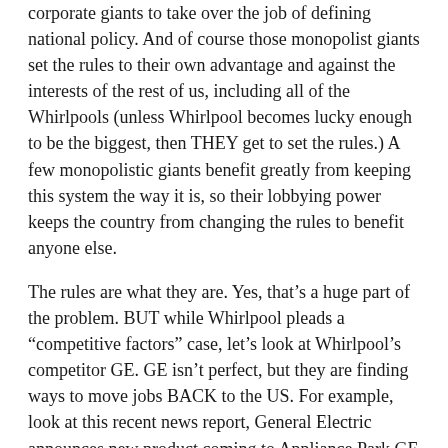corporate giants to take over the job of defining national policy. And of course those monopolist giants set the rules to their own advantage and against the interests of the rest of us, including all of the Whirlpools (unless Whirlpool becomes lucky enough to be the biggest, then THEY get to set the rules.) A few monopolistic giants benefit greatly from keeping this system the way it is, so their lobbying power keeps the country from changing the rules to benefit anyone else.
The rules are what they are. Yes, that's a huge part of the problem. BUT while Whirlpool pleads a “competitive factors” case, let’s look at Whirlpool’s competitor GE. GE isn’t perfect, but they are finding ways to move jobs BACK to the US. For example, look at this recent news report, General Electric announces new product coming to Appliance Park GE announced Appliance Park will get a new product - a "hybrid" or energy efficient water heater. The product line will arrive in 2011 and bring with it 400 new jobs. How was GE able to make Louisville work for producing durable goods, when Whirlpool is not able to make Evansville work? Is it a lack of corporate imagination on Whirlpool’s part? Why isn’t Whirlpool inspired to go the extra mile to find ways to keep jobs here, to help the communities that surround them and to help the country rebuild the tax base for our common good? As